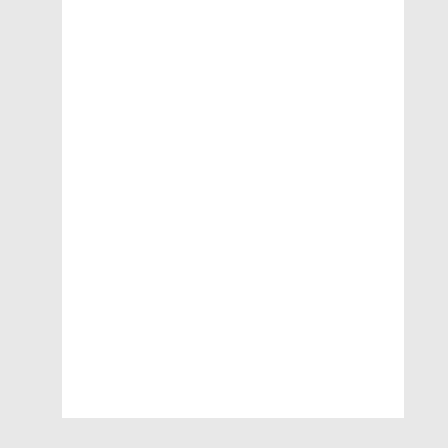[Figure (screenshot): White content card area (scrollable document panel) occupying the upper portion of the page, with light gray background.]
http://www.OHTA.ca OR
http://www.OntarioTrafficAct.com